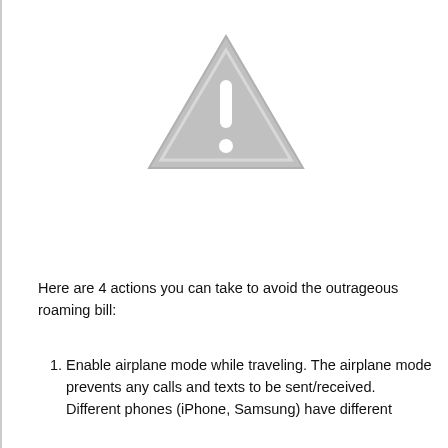[Figure (illustration): A gray warning/caution triangle icon with an exclamation mark inside]
Here are 4 actions you can take to avoid the outrageous roaming bill:
Enable airplane mode while traveling. The airplane mode prevents any calls and texts to be sent/received. Different phones (iPhone, Samsung) have different